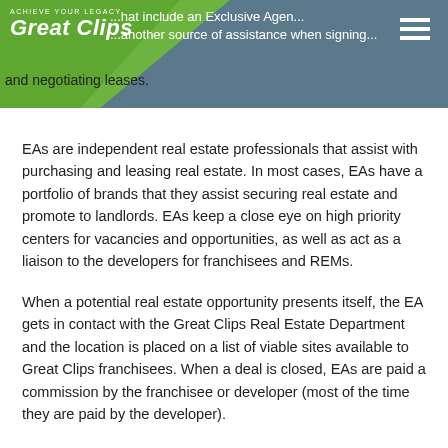ACHIEVE YOUR LEGACY — Great Clips | ...that include an Exclusive Agent... ...another source of assistance when signing... and negotiating leases.
EAs are independent real estate professionals that assist with purchasing and leasing real estate. In most cases, EAs have a portfolio of brands that they assist securing real estate and promote to landlords. EAs keep a close eye on high priority centers for vacancies and opportunities, as well as act as a liaison to the developers for franchisees and REMs.
When a potential real estate opportunity presents itself, the EA gets in contact with the Great Clips Real Estate Department and the location is placed on a list of viable sites available to Great Clips franchisees. When a deal is closed, EAs are paid a commission by the franchisee or developer (most of the time they are paid by the developer).